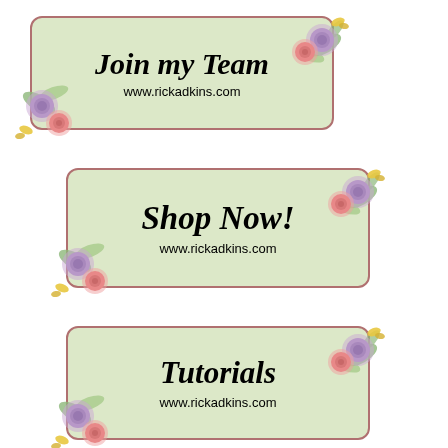[Figure (illustration): Decorative card with floral corner decorations (pink and lavender roses with greenery and butterfly) on sage green background with rose-colored border. Title: Join my Team, URL: www.rickadkins.com]
[Figure (illustration): Decorative card with floral corner decorations (pink and lavender roses with greenery and butterfly) on sage green background with rose-colored border. Title: Shop Now!, URL: www.rickadkins.com]
[Figure (illustration): Decorative card with floral corner decorations (pink and lavender roses with greenery and butterfly) on sage green background with rose-colored border. Title: Tutorials, URL: www.rickadkins.com]